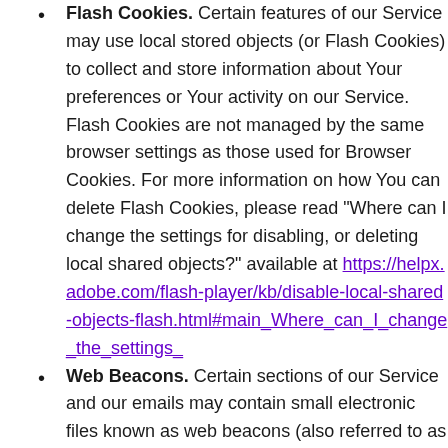Flash Cookies. Certain features of our Service may use local stored objects (or Flash Cookies) to collect and store information about Your preferences or Your activity on our Service. Flash Cookies are not managed by the same browser settings as those used for Browser Cookies. For more information on how You can delete Flash Cookies, please read "Where can I change the settings for disabling, or deleting local shared objects?" available at https://helpx.adobe.com/flash-player/kb/disable-local-shared-objects-flash.html#main_Where_can_I_change_the_settings_
Web Beacons. Certain sections of our Service and our emails may contain small electronic files known as web beacons (also referred to as clear gifs, pixel tags, and single-pixel gifs) that permit the Company, for example, to count users who have visited those pages or opened an email and for